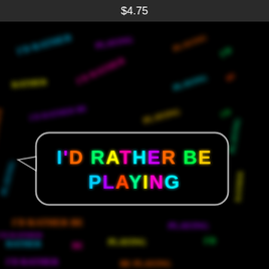$4.75
[Figure (photo): A colorful neon-glow text art image on a black background. Repeated colorful neon lettering fills the background in various orientations. In the center is a prominent speech-bubble shape containing the text 'I'D RATHER BE PLAYING' in large multicolored neon letters. The letters glow in various rainbow colors including cyan, purple, orange, green, yellow, and red. The background is filled with smaller repeated instances of the same phrase in various colors and orientations, all blurred except the central banner.]